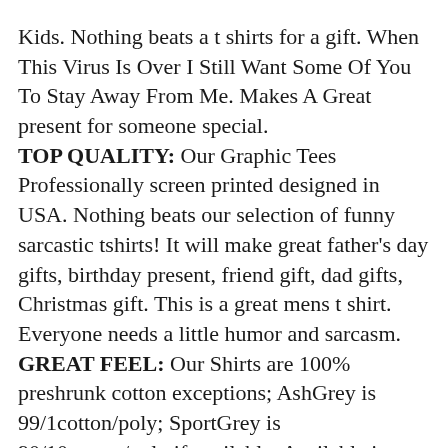Kids. Nothing beats a t shirts for a gift. When This Virus Is Over I Still Want Some Of You To Stay Away From Me. Makes A Great present for someone special. TOP QUALITY: Our Graphic Tees Professionally screen printed designed in USA. Nothing beats our selection of funny sarcastic tshirts! It will make great father's day gifts, birthday present, friend gift, dad gifts, Christmas gift. This is a great mens t shirt. Everyone needs a little humor and sarcasm. GREAT FEEL: Our Shirts are 100% preshrunk cotton exceptions; AshGrey is 99/1cotton/poly; SportGrey is 90/10cotton/poly if available. Available in 2XL 3XL 4XL 5XL Tee will bring adult humor out. The sarcasm laughs will flow. Graphic tee makes gift for dad. Great gift idea for teenagers, boys and girls, dads, uncles and best friends. Most designs have options for big